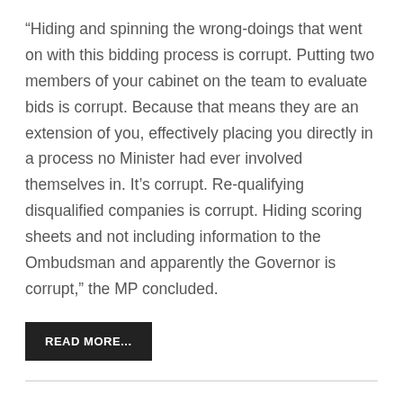“Hiding and spinning the wrong-doings that went on with this bidding process is corrupt. Putting two members of your cabinet on the team to evaluate bids is corrupt. Because that means they are an extension of you, effectively placing you directly in a process no Minister had ever involved themselves in. It’s corrupt. Re-qualifying disqualified companies is corrupt. Hiding scoring sheets and not including information to the Ombudsman and apparently the Governor is corrupt,” the MP concluded.
READ MORE...
POSITIVE, ELEKTRALYTES FD., SLS, &